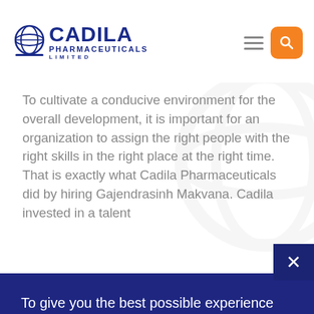[Figure (logo): Cadila Pharmaceuticals Limited logo with circular badge icon and blue text]
To cultivate a conducive environment for the overall development, it is important for an organization to assign the right people with the right skills in the right place at the right time. That is exactly what Cadila Pharmaceuticals did by hiring Gajendrasinh Makvana. Cadila invested in a talent
To give you the best possible experience every time you visit our site, we use cookies to identify and store your preferences on your browser. Continuing to browse our site means that you are "ok" with this. Learn more about our privacy policy.
Okay